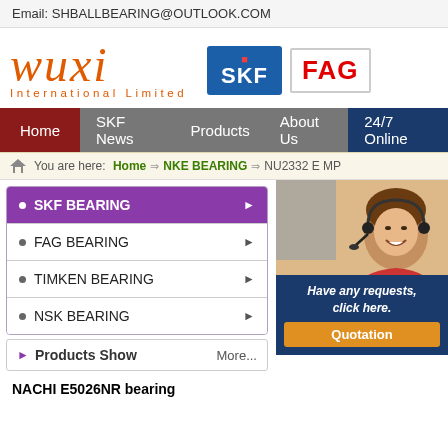Email: SHBALLBEARING@OUTLOOK.COM
[Figure (logo): Wuxi International Limited logo with SKF and FAG brand logos]
Home | SKF News | Products | About Us | 24/7 Online
You are here: Home => NKE BEARING => NU2332 E MP
SKF BEARING
FAG BEARING
TIMKEN BEARING
NSK BEARING
NKE NU233
[Figure (photo): Warehouse with shelves of bearing products and boxes]
[Figure (photo): Customer service woman with headset smiling]
Have any requests, click here.
Quotation
Products Show
More...
NACHI E5026NR bearing